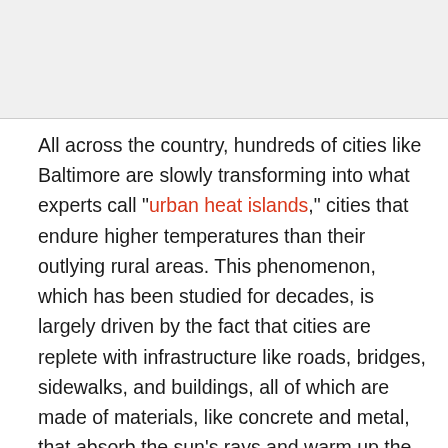All across the country, hundreds of cities like Baltimore are slowly transforming into what experts call "urban heat islands," cities that endure higher temperatures than their outlying rural areas. This phenomenon, which has been studied for decades, is largely driven by the fact that cities are replete with infrastructure like roads, bridges, sidewalks, and buildings, all of which are made of materials, like concrete and metal, that absorb the sun's rays and warm up the surrounding air. Additionally, cities are notorious for being relatively bereft of trees and plants, which help offset warming